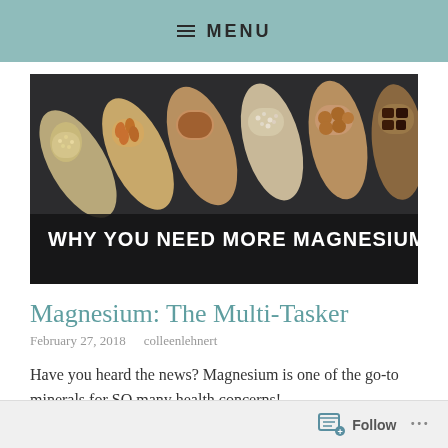MENU
[Figure (photo): Six wooden spoons arranged diagonally, each containing different foods (grains, almonds, powder, seeds, hazelnuts, dark chocolate), on a dark slate background with white text overlay reading 'WHY YOU NEED MORE MAGNESIUM']
Magnesium: The Multi-Tasker
February 27, 2018   colleenlehnert
Have you heard the news? Magnesium is one of the go-to minerals for SO many health concerns!
Follow